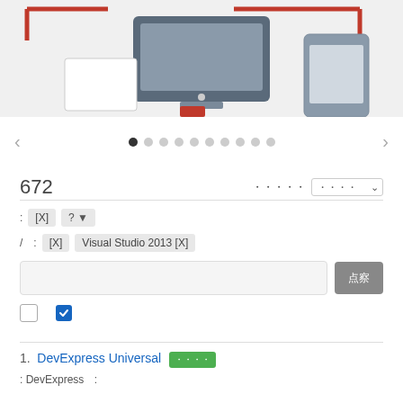[Figure (illustration): Banner illustration showing desktop monitor, tablet, and laptop icons with red bracket/frame design elements on light gray background]
[Figure (infographic): Carousel navigation with left/right arrows and 10 dots, first dot active (filled dark)]
672
[filter label] [dropdown selector with checkmark]
: [X] ? [dropdown] / : [X] Visual Studio 2013 [X]
[search input] [search button]
[unchecked checkbox] [checked checkbox]
1. DevExpress Universal [green badge] : DevExpress :